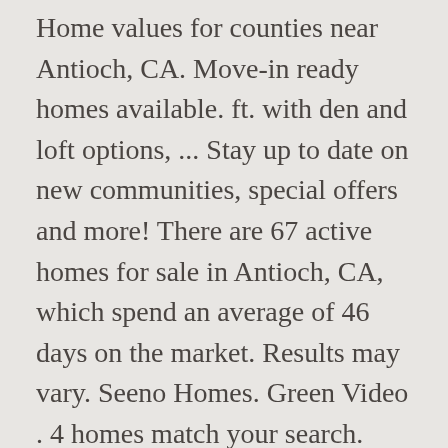Home values for counties near Antioch, CA. Move-in ready homes available. ft. with den and loft options, ... Stay up to date on new communities, special offers and more! There are 67 active homes for sale in Antioch, CA, which spend an average of 46 days on the market. Results may vary. Seeno Homes. Green Video . 4 homes match your search. The Landing Wildflower Station new homes Antioch. Being a general contractor in addition to a retailer for over 30 years in California allows Bay Area Manufactured Housing the ability to design and build affordable housing for generations. ft. to 3,417 sq. Find New Homes in Antioch, CA from K.